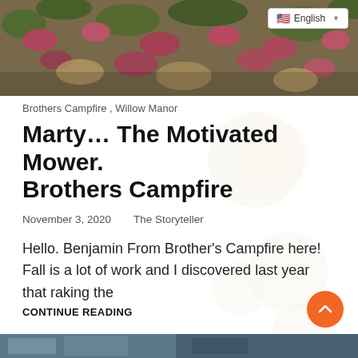[Figure (photo): Hero image showing autumn/fall leaves on the ground with red and pink foliage]
English (language selector badge)
Brothers Campfire , Willow Manor
Marty… The Motivated Mower. Brothers Campfire
November 3, 2020   The Storyteller
Hello. Benjamin From Brother’s Campfire here! Fall is a lot of work and I discovered last year that raking the
CONTINUE READING
[Figure (photo): Partial bottom strip image, appears to be another article thumbnail]